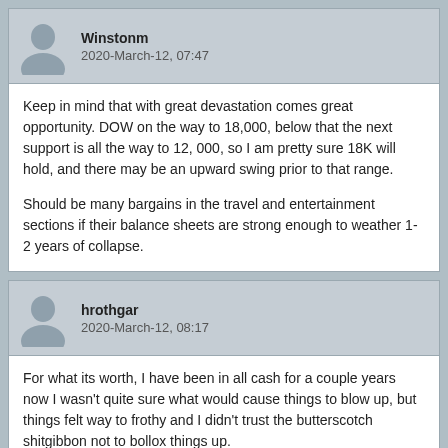Winstonm
2020-March-12, 07:47
Keep in mind that with great devastation comes great opportunity. DOW on the way to 18,000, below that the next support is all the way to 12, 000, so I am pretty sure 18K will hold, and there may be an upward swing prior to that range.

Should be many bargains in the travel and entertainment sections if their balance sheets are strong enough to weather 1-2 years of collapse.
hrothgar
2020-March-12, 08:17
For what its worth, I have been in all cash for a couple years now I wasn't quite sure what would cause things to blow up, but things felt way to frothy and I didn't trust the butterscotch shitgibbon not to bollox things up.

And I was feeling pretty bad about this